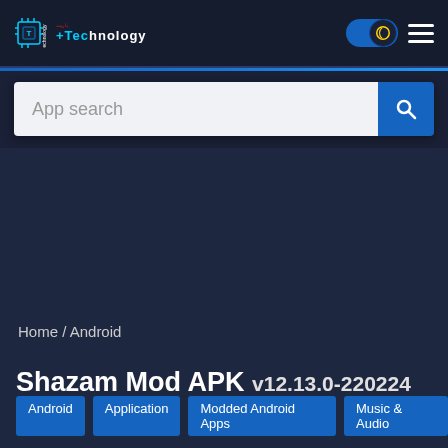Technology website header with logo, dark mode toggle, and hamburger menu
[Figure (screenshot): Search bar with 'App search' placeholder and blue search button with magnifying glass icon]
Home / Android
Shazam Mod APK v12.13.0-220224
Android
Application
Modded Android Apps
Music & Audio